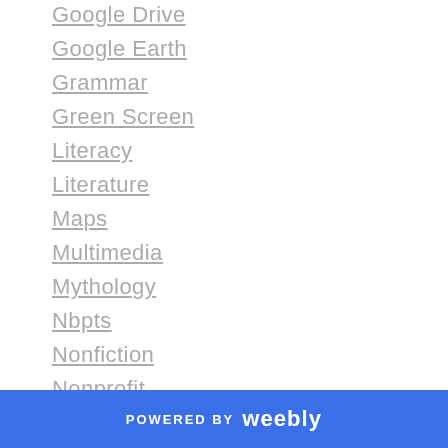Google Drive
Google Earth
Grammar
Green Screen
Literacy
Literature
Maps
Multimedia
Mythology
Nbpts
Nonfiction
Nonprofit
Parent Contact
Pdf
Photography
Plagiarism
Podcasting
POWERED BY weebly